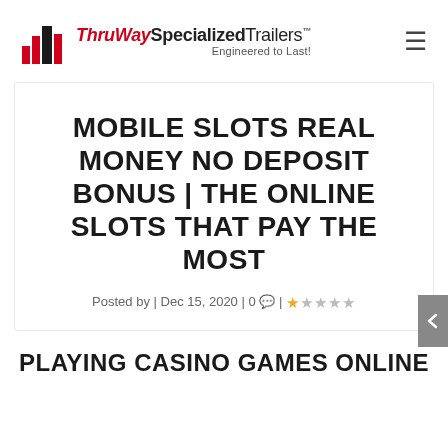ThruWay Specialized Trailers™ — Engineered to Last!
MOBILE SLOTS REAL MONEY NO DEPOSIT BONUS | THE ONLINE SLOTS THAT PAY THE MOST
Posted by | Dec 15, 2020 | 0 💬 | ★☆☆☆☆
PLAYING CASINO GAMES ONLINE